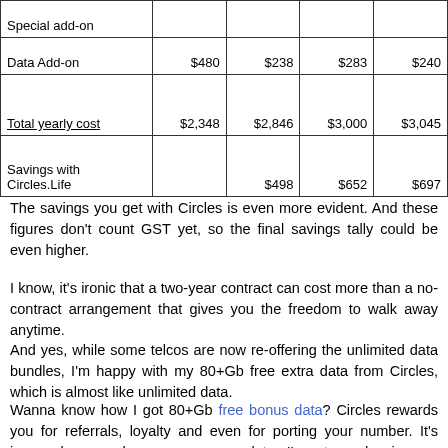|  | Col1 | Col2 | Col3 | Col4 |
| --- | --- | --- | --- | --- |
| Special add-on |  |  |  |  |
| Data Add-on | $480 | $238 | $283 | $240 |
| Total yearly cost | $2,348 | $2,846 | $3,000 | $3,045 |
| Savings with Circles.Life |  | $498 | $652 | $697 |
The savings you get with Circles is even more evident. And these figures don't count GST yet, so the final savings tally could be even higher.
I know, it's ironic that a two-year contract can cost more than a no-contract arrangement that gives you the freedom to walk away anytime.
And yes, while some telcos are now re-offering the unlimited data bundles, I'm happy with my 80+Gb free extra data from Circles, which is almost like unlimited data.
Wanna know how I got 80+Gb free bonus data? Circles rewards you for referrals, loyalty and even for porting your number. It's insane how much you can accumulate. I've stopped using my referral code ORWAN (which I got to